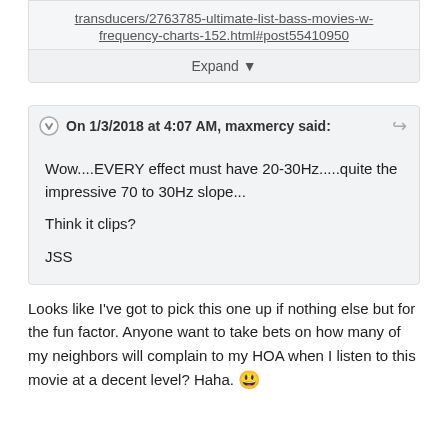transducers/2763785-ultimate-list-bass-movies-w-frequency-charts-152.html#post55410950
Expand ▼
On 1/3/2018 at 4:07 AM, maxmercy said:
Wow....EVERY effect must have 20-30Hz.....quite the impressive 70 to 30Hz slope...

Think it clips?

JSS
Looks like I've got to pick this one up if nothing else but for the fun factor. Anyone want to take bets on how many of my neighbors will complain to my HOA when I listen to this movie at a decent level? Haha. 😄